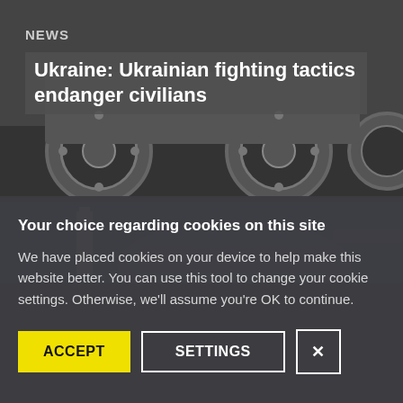[Figure (photo): Military vehicle wheels close-up, dark background]
NEWS
Ukraine: Ukrainian fighting tactics endanger civilians
[Figure (photo): Building with dome structure against blue sky]
Your choice regarding cookies on this site
We have placed cookies on your device to help make this website better. You can use this tool to change your cookie settings. Otherwise, we'll assume you're OK to continue.